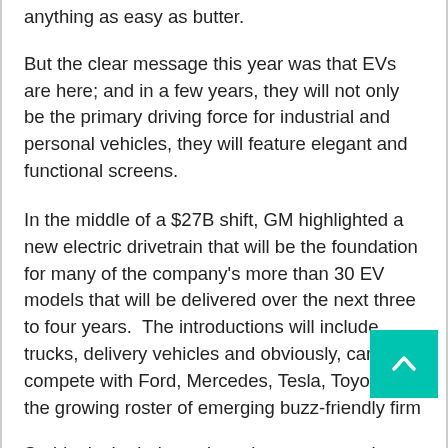anything as easy as butter.
But the clear message this year was that EVs are here; and in a few years, they will not only be the primary driving force for industrial and personal vehicles, they will feature elegant and functional screens.
In the middle of a $27B shift, GM highlighted a new electric drivetrain that will be the foundation for many of the company’s more than 30 EV models that will be delivered over the next three to four years.  The introductions will include trucks, delivery vehicles and obviously, cars to compete with Ford, Mercedes, Tesla, Toyota and the growing roster of emerging buzz-friendly firm
Suddenly the industry is serious – very serious about weaning the world off fossil fuels.